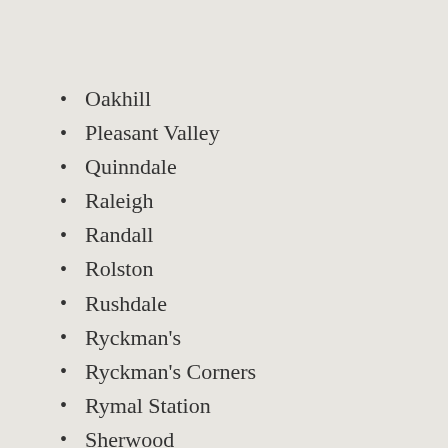Oakhill
Pleasant Valley
Quinndale
Raleigh
Randall
Rolston
Rushdale
Ryckman's
Ryckman's Corners
Rymal Station
Sherwood
Southam
Sunninghill
Templemead